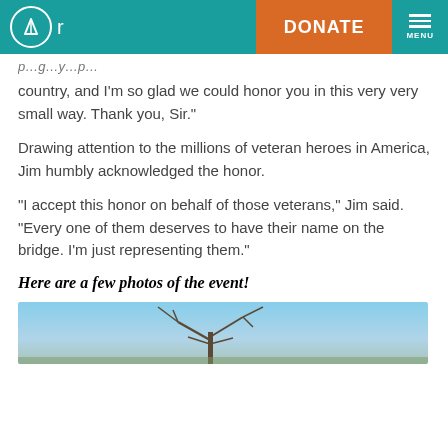Or | DONATE | MENU
country, and I'm so glad we could honor you in this very very small way. Thank you, Sir."
Drawing attention to the millions of veteran heroes in America, Jim humbly acknowledged the honor.
“I accept this honor on behalf of those veterans,” Jim said. “Every one of them deserves to have their name on the bridge. I’m just representing them.”
Here are a few photos of the event!
[Figure (photo): Outdoor photo showing bare tree branches against a blue sky, cropped at bottom of page]